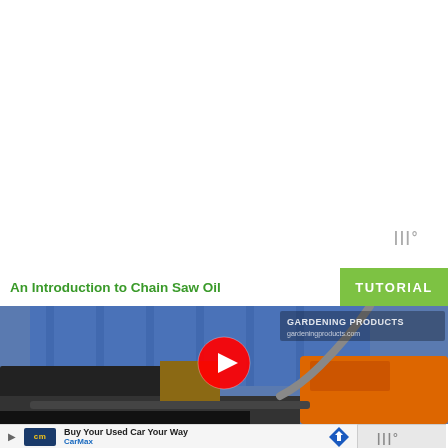[Figure (other): Weather/app icon symbol (three vertical wavy lines with degree symbol) in gray, positioned top right area]
[Figure (screenshot): Video thumbnail for 'An Introduction to Chain Saw Oil' tutorial. Green title bar on left with olive-colored TUTORIAL badge on right. Below is a video thumbnail showing a person in a blue checked shirt handling a chainsaw, with a red YouTube play button in the center. GARDENING PRODUCTS watermark visible.]
[Figure (other): CarMax advertisement bar at bottom: play arrow, CarMax logo (cm in blue/yellow), text 'Buy Your Used Car Your Way' and 'CarMax', blue navigation diamond icon on right.]
[Figure (other): Weather icon (three wavy lines with degree symbol) in gray on right side of bottom ad bar area.]